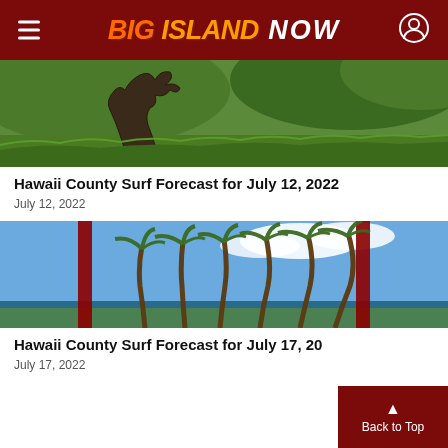BIG ISLAND NOW
[Figure (photo): Green hillside with a sprawling dead tree in the foreground, lush grass and green hills in background]
Hawaii County Surf Forecast for July 12, 2022
July 12, 2022
[Figure (photo): Tall palm trees swaying in wind near a coastal bay with blue sky and clouds, red pillars framing the scene]
Hawaii County Surf Forecast for July 17, 2022
July 17, 2022